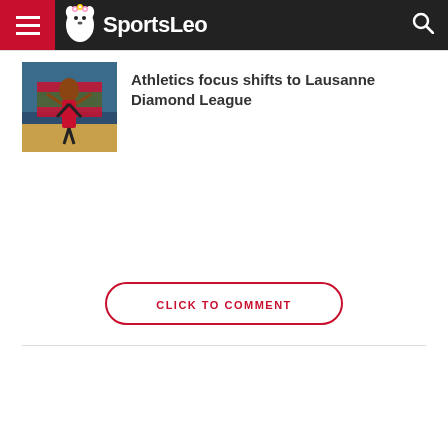SportsLeo
[Figure (photo): Athlete wrapped in Kenyan flag celebrating at a stadium]
Athletics focus shifts to Lausanne Diamond League
CLICK TO COMMENT